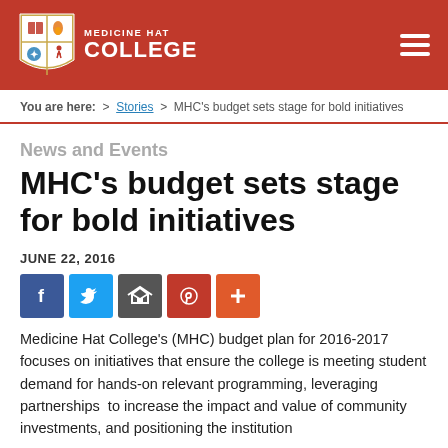Medicine Hat College
You are here: > Stories > MHC's budget sets stage for bold initiatives
News and Events
MHC's budget sets stage for bold initiatives
JUNE 22, 2016
[Figure (other): Social media sharing icons: Facebook, Twitter, Email, Pinterest, More]
Medicine Hat College's (MHC) budget plan for 2016-2017 focuses on initiatives that ensure the college is meeting student demand for hands-on relevant programming, leveraging partnerships  to increase the impact and value of community investments, and positioning the institution